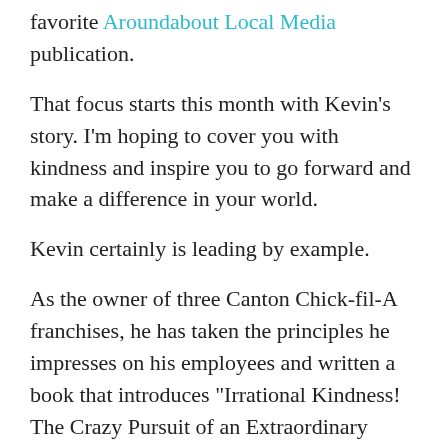favorite Aroundabout Local Media publication.
That focus starts this month with Kevin's story. I'm hoping to cover you with kindness and inspire you to go forward and make a difference in your world.
Kevin certainly is leading by example.
As the owner of three Canton Chick-fil-A franchises, he has taken the principles he impresses on his employees and written a book that introduces "Irrational Kindness! The Crazy Pursuit of an Extraordinary Life." The book releases Jan. 12, and in the true spirit of kindness, 100% of book sales will be donated to local and international charities. Canton-based nonprofits, Goshen Valley Boys Ranch and the Angel House, are recipients, along with a foster care program at Fostering Together in Alpharetta and CARE for AIDS in Kenya.